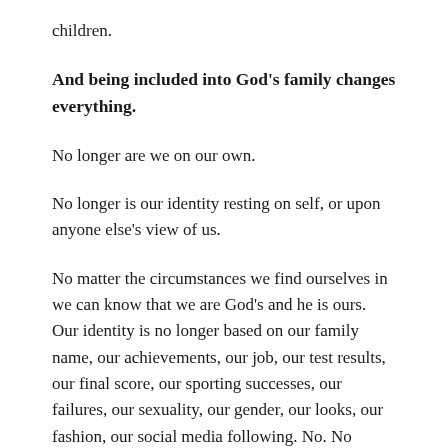children.
And being included into God's family changes everything.
No longer are we on our own.
No longer is our identity resting on self, or upon anyone else's view of us.
No matter the circumstances we find ourselves in we can know that we are God's and he is ours. Our identity is no longer based on our family name, our achievements, our job, our test results, our final score, our sporting successes, our failures, our sexuality, our gender, our looks, our fashion, our social media following. No. No longer are we defined by